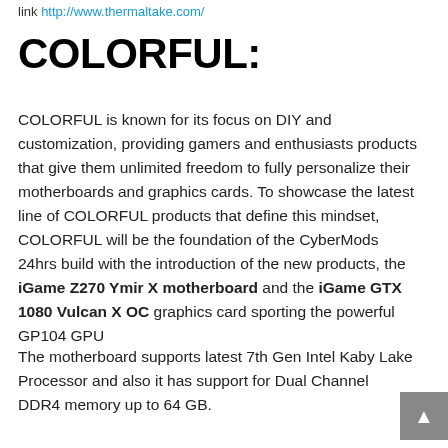link http://www.thermaltake.com/
COLORFUL:
COLORFUL is known for its focus on DIY and customization, providing gamers and enthusiasts products that give them unlimited freedom to fully personalize their motherboards and graphics cards. To showcase the latest line of COLORFUL products that define this mindset, COLORFUL will be the foundation of the CyberMods 24hrs build with the introduction of the new products, the iGame Z270 Ymir X motherboard and the iGame GTX 1080 Vulcan X OC graphics card sporting the powerful GP104 GPU
The motherboard supports latest 7th Gen Intel Kaby Lake Processor and also it has support for Dual Channel DDR4 memory up to 64 GB.